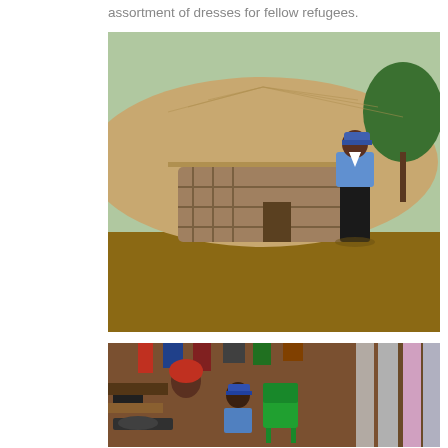assortment of dresses for fellow refugees.
[Figure (photo): A smiling woman wearing a blue shirt and black skirt and a blue cap stands in front of a round thatched-roof mud hut in a sunny outdoor setting with trees in the background.]
[Figure (photo): Interior scene showing people sitting inside a small room or shop, with clothing hanging on walls and a green plastic chair visible. A person wearing a blue shirt and cap sits smiling in the foreground.]